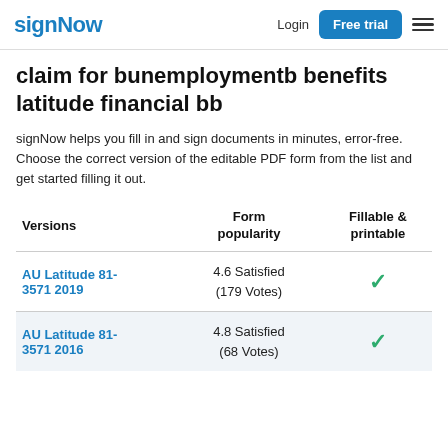signNow  Login  Free trial
claim for bunemploymentb benefits latitude financial bb
signNow helps you fill in and sign documents in minutes, error-free. Choose the correct version of the editable PDF form from the list and get started filling it out.
| Versions | Form popularity | Fillable & printable |
| --- | --- | --- |
| AU Latitude 81-3571 2019 | 4.6 Satisfied (179 Votes) | ✓ |
| AU Latitude 81-3571 2016 | 4.8 Satisfied (68 Votes) | ✓ |